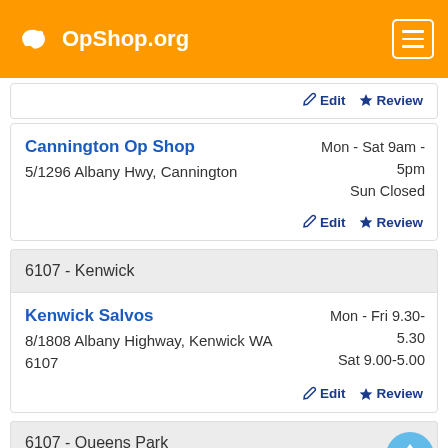OpShop.org
Edit  Review
Cannington Op Shop
5/1296 Albany Hwy, Cannington
Mon - Sat 9am - 5pm
Sun Closed
Edit  Review
6107 - Kenwick
Kenwick Salvos
8/1808 Albany Highway, Kenwick WA 6107
Mon - Fri 9.30-5.30
Sat 9.00-5.00
Edit  Review
6107 - Queens Park